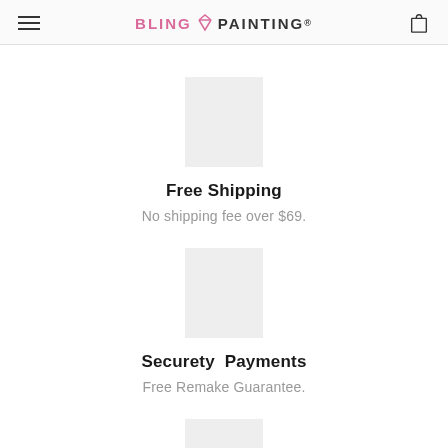BLING PAINTING®
[Figure (other): Gray image placeholder for Free Shipping icon]
Free Shipping
No shipping fee over $69.
[Figure (other): Gray image placeholder for Securety Payments icon]
Securety  Payments
Free Remake Guarantee.
[Figure (other): Gray image placeholder for 14-Day Returns icon]
14-Day  Returns